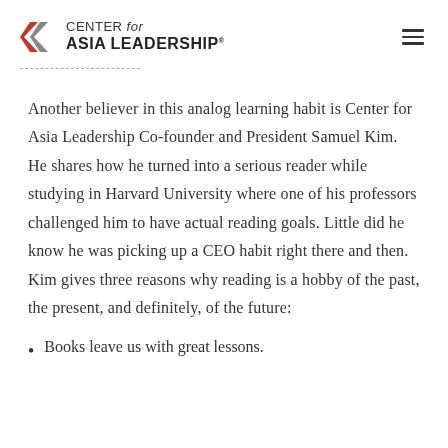CENTER for ASIA LEADERSHIP
Another believer in this analog learning habit is Center for Asia Leadership Co-founder and President Samuel Kim. He shares how he turned into a serious reader while studying in Harvard University where one of his professors challenged him to have actual reading goals. Little did he know he was picking up a CEO habit right there and then. Kim gives three reasons why reading is a hobby of the past, the present, and definitely, of the future:
Books leave us with great lessons.